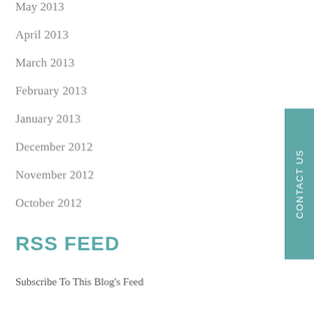May 2013
April 2013
March 2013
February 2013
January 2013
December 2012
November 2012
October 2012
RSS FEED
Subscribe To This Blog's Feed